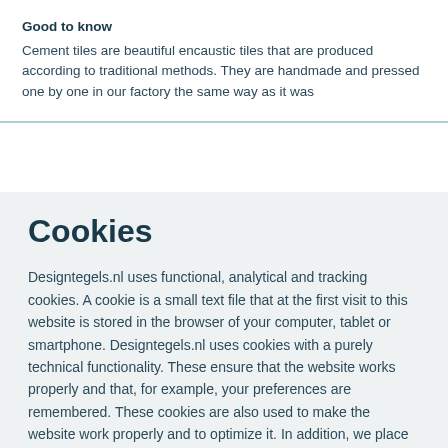Good to know
Cement tiles are beautiful encaustic tiles that are produced according to traditional methods. They are handmade and pressed one by one in our factory the same way as it was
Cookies
Designtegels.nl uses functional, analytical and tracking cookies. A cookie is a small text file that at the first visit to this website is stored in the browser of your computer, tablet or smartphone. Designtegels.nl uses cookies with a purely technical functionality. These ensure that the website works properly and that, for example, your preferences are remembered. These cookies are also used to make the website work properly and to optimize it. In addition, we place cookies that track your surfing behaviour so that we can offer you tailor-made content and advertisements. When you first visited our website, we informed you